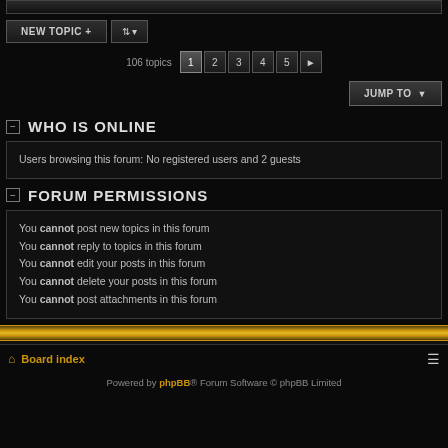[Figure (screenshot): Top portion of a forum page (cropped, showing edge of content)]
NEW TOPIC +
106 topics  1 2 3 4 5 ▶
JUMP TO
WHO IS ONLINE
Users browsing this forum: No registered users and 2 guests
FORUM PERMISSIONS
You cannot post new topics in this forum
You cannot reply to topics in this forum
You cannot edit your posts in this forum
You cannot delete your posts in this forum
You cannot post attachments in this forum
Board index
Powered by phpBB® Forum Software © phpBB Limited